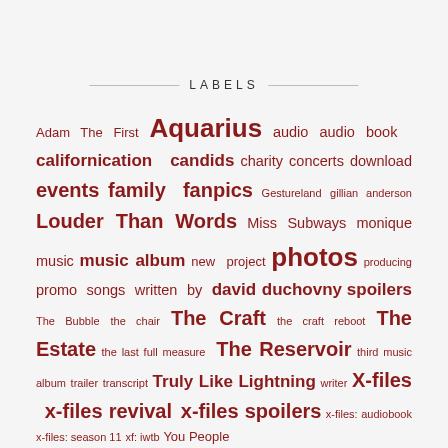LABELS
Adam The First Aquarius audio audio book californication candids charity concerts download events family fanpics Gestureland gillian anderson Louder Than Words Miss Subways monique music music album new project photos producing promo songs written by david duchovny spoilers The Bubble the chair The Craft the craft reboot The Estate the last full measure The Reservoir third music album trailer transcript Truly Like Lightning writer X-files x-files revival x-files spoilers x-files: audiobook x-files: season 11 xf: iwtb You People